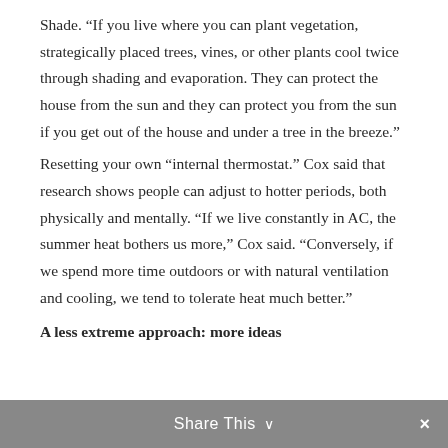Shade. “If you live where you can plant vegetation, strategically placed trees, vines, or other plants cool twice through shading and evaporation. They can protect the house from the sun and they can protect you from the sun if you get out of the house and under a tree in the breeze.”
Resetting your own “internal thermostat.” Cox said that research shows people can adjust to hotter periods, both physically and mentally. “If we live constantly in AC, the summer heat bothers us more,” Cox said. “Conversely, if we spend more time outdoors or with natural ventilation and cooling, we tend to tolerate heat much better.”
A less extreme approach: more ideas
Share This ∨ ×